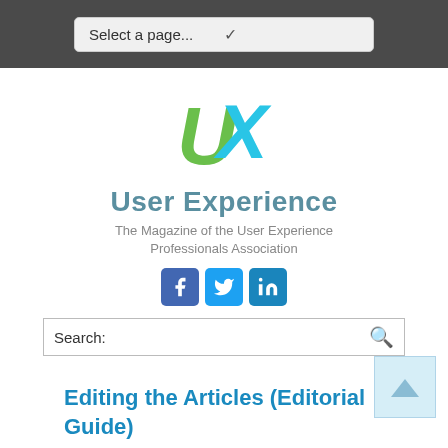Select a page...
[Figure (logo): UX Magazine logo — stylized green U and cyan X letters forming 'UX' mark]
User Experience
The Magazine of the User Experience Professionals Association
[Figure (illustration): Three social media icons: Facebook (f), Twitter (bird), LinkedIn (in) in blue square tiles]
Search:
Editing the Articles (Editorial Guide)
As you work on an article, remember that the